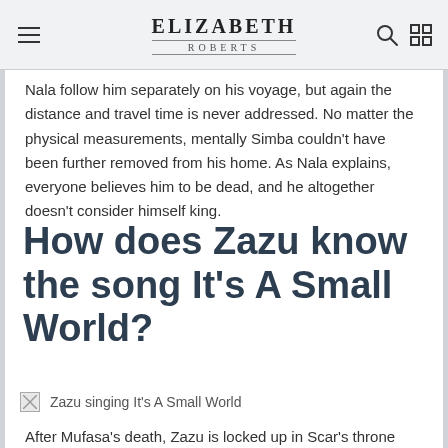ELIZABETH ROBERTS
Nala follow him separately on his voyage, but again the distance and travel time is never addressed. No matter the physical measurements, mentally Simba couldn't have been further removed from his home. As Nala explains, everyone believes him to be dead, and he altogether doesn't consider himself king.
How does Zazu know the song It's A Small World?
[Figure (photo): Broken image placeholder with caption 'Zazu singing It's A Small World']
Zazu singing It's A Small World
After Mufasa's death, Zazu is locked up in Scar's throne room, made to entertain the evil ruler in a manner similar to a court jester. From a makeshift jail cell, Zazu becomes an endless jukebox of real songs from the real world, a